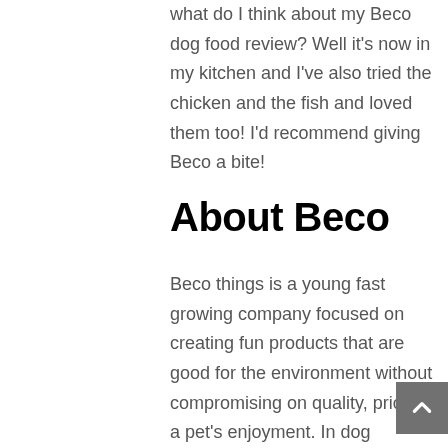what do I think about my Beco dog food review? Well it's now in my kitchen and I've also tried the chicken and the fish and loved them too! I'd recommend giving Beco a bite!
About Beco
Beco things is a young fast growing company focused on creating fun products that are good for the environment without compromising on quality, price or a pet's enjoyment. In dog speak… they make great products that pets love without destroying the environment to do it.